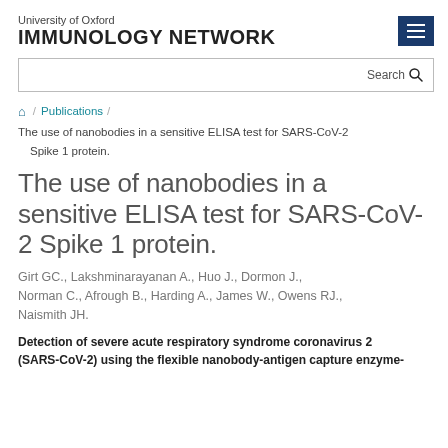University of Oxford IMMUNOLOGY NETWORK
Search
Home / Publications / The use of nanobodies in a sensitive ELISA test for SARS-CoV-2 Spike 1 protein.
The use of nanobodies in a sensitive ELISA test for SARS-CoV-2 Spike 1 protein.
Girt GC., Lakshminarayanan A., Huo J., Dormon J., Norman C., Afrough B., Harding A., James W., Owens RJ., Naismith JH.
Detection of severe acute respiratory syndrome coronavirus 2 (SARS-CoV-2) using the flexible nanobody-antigen capture enzyme-linked immunosorbent assay